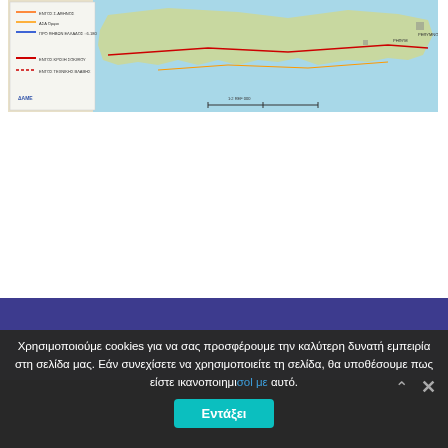[Figure (map): Partial view of a geographic map showing coastal region, with a legend indicating various boundary and route types in Greek. The map shows a cyan/light blue sea area and land masses.]
CONTACT   SERVICES   MENU
Χρησιμοποιούμε cookies για να σας προσφέρουμε την καλύτερη δυνατή εμπειρία στη σελίδα μας. Εάν συνεχίσετε να χρησιμοποιείτε τη σελίδα, θα υποθέσουμε πως είστε ικανοποιημένοι με αυτό.
Εντάξει